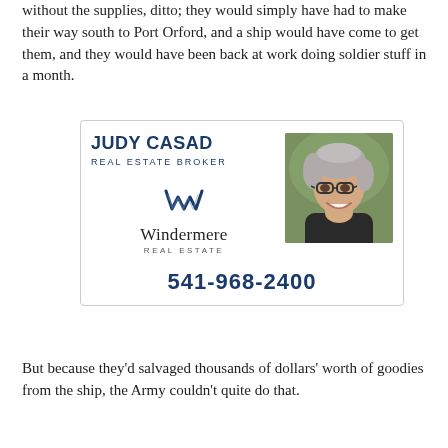without the supplies, ditto; they would simply have had to make their way south to Port Orford, and a ship would have come to get them, and they would have been back at work doing soldier stuff in a month.
[Figure (advertisement): Advertisement for Judy Casad, Real Estate Broker at Windermere Real Estate, with a photo of a woman with short gray hair and glasses, and phone number 541-968-2400.]
But because they'd salvaged thousands of dollars' worth of goodies from the ship, the Army couldn't quite do that.